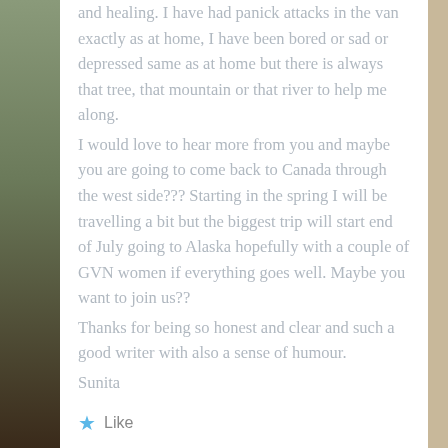and healing. I have had panick attacks in the van exactly as at home, I have been bored or sad or depressed same as at home but there is always that tree, that mountain or that river to help me along. I would love to hear more from you and maybe you are going to come back to Canada through the west side??? Starting in the spring I will be travelling a bit but the biggest trip will start end of July going to Alaska hopefully with a couple of GVN women if everything goes well. Maybe you want to join us?? Thanks for being so honest and clear and such a good writer with also a sense of humour. Sunita
Like